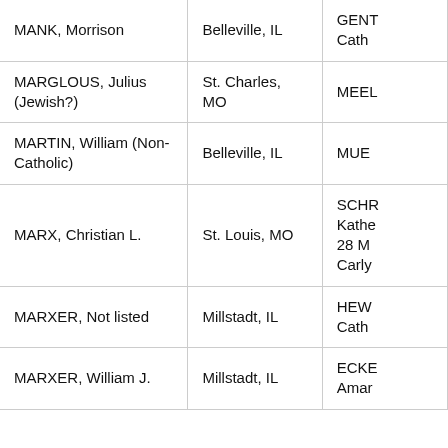| Name | Location | Reference (truncated) |
| --- | --- | --- |
| MANK, Morrison | Belleville, IL | GENT... Cath... |
| MARGLOUS, Julius (Jewish?) | St. Charles, MO | MEER... |
| MARTIN, William (Non-Catholic) | Belleville, IL | MUE... |
| MARX, Christian L. | St. Louis, MO | SCHR... Kathe... 28 M... Carly... |
| MARXER, Not listed | Millstadt, IL | HEW... Cath... |
| MARXER, William J. | Millstadt, IL | ECKE... Amar... |